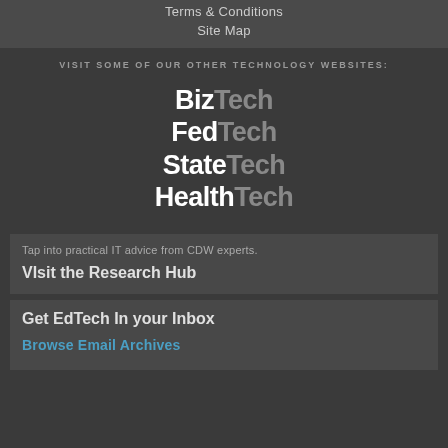Terms & Conditions
Site Map
VISIT SOME OF OUR OTHER TECHNOLOGY WEBSITES:
[Figure (logo): Four technology website logos stacked vertically: BizTech, FedTech, StateTech, HealthTech - each with bold white first word and gray 'Tech' suffix]
Tap into practical IT advice from CDW experts.
VIsit the Research Hub
Get EdTech In your Inbox
Browse Email Archives